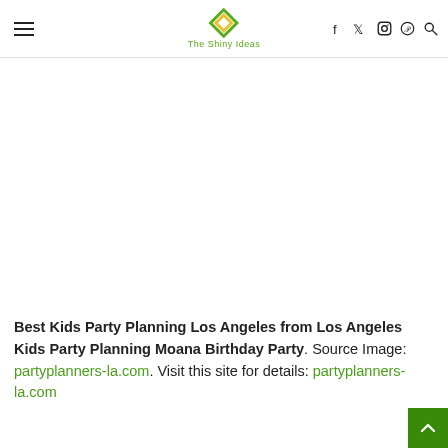The Shiny Ideas
[Figure (photo): Large white/blank image area representing a photo of a Moana Birthday Party kids party planning in Los Angeles]
Best Kids Party Planning Los Angeles from Los Angeles Kids Party Planning Moana Birthday Party. Source Image: partyplanners-la.com. Visit this site for details: partyplanners-la.com